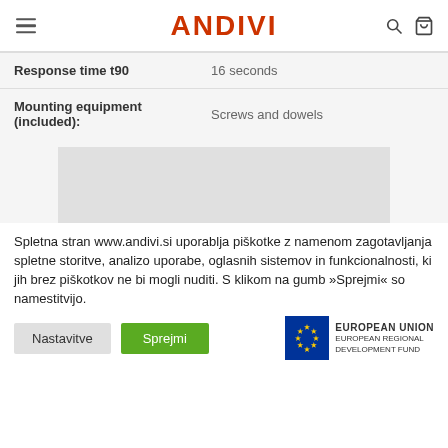ANDIVI
| Property | Value |
| --- | --- |
| Response time t90 | 16 seconds |
| Mounting equipment (included): | Screws and dowels |
[Figure (photo): Gray placeholder image area]
Spletna stran www.andivi.si uporablja piškotke z namenom zagotavljanja spletne storitve, analizo uporabe, oglasnih sistemov in funkcionalnosti, ki jih brez piškotkov ne bi mogli nuditi. S klikom na gumb »Sprejmi« so namestitvijo.
Nastavitve | Sprejmi